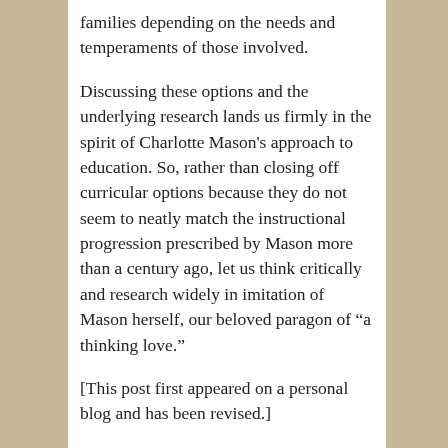families depending on the needs and temperaments of those involved.
Discussing these options and the underlying research lands us firmly in the spirit of Charlotte Mason's approach to education. So, rather than closing off curricular options because they do not seem to neatly match the instructional progression prescribed by Mason more than a century ago, let us think critically and research widely in imitation of Mason herself, our beloved paragon of “a thinking love.”
[This post first appeared on a personal blog and has been revised.]
SHARE THIS:
[Figure (other): Share button with arrow icon and 'Share' text label]